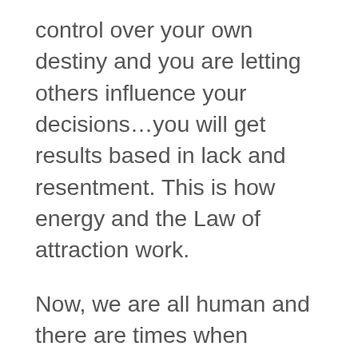control over your own destiny and you are letting others influence your decisions…you will get results based in lack and resentment. This is how energy and the Law of attraction work.
Now, we are all human and there are times when circumstances and our external reality can get the best of us. The problem arises when we permit ourselves to sit in the negative energy.
One way to very quickly shift our energy, and it's something all of us can do on one level or another is to connect with the pure, elevated